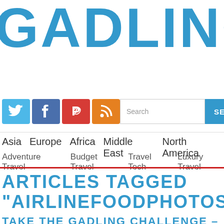GADLING
[Figure (other): Social media icons: Twitter (blue), Facebook (dark blue/purple), Pinterest (red), RSS (orange), plus a search box with SEARCH button]
Asia   Europe   Africa   Middle East   North America
Adventure Travel   Budget Travel   Travel Tech   Luxury Travel
ARTICLES TAGGED
"AIRLINEFOODPHOTOSET"
TAKE THE GADLING CHALLENGE –  ARM